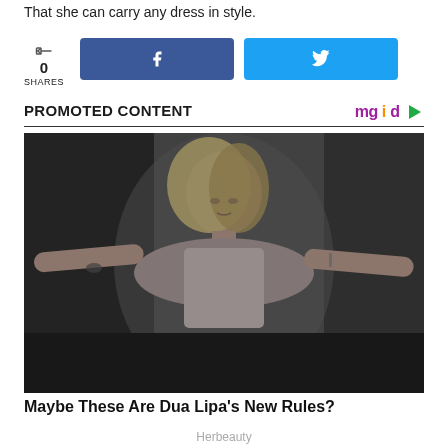That she can carry any dress in style.
0 SHARES
[Figure (screenshot): Social share buttons: Facebook and Twitter share buttons with 0 shares count]
PROMOTED CONTENT
[Figure (photo): Black and white photo of Dua Lipa posing with arms outstretched, wearing a crop top, with blonde hair]
Maybe These Are Dua Lipa's New Rules?
Herbeauty